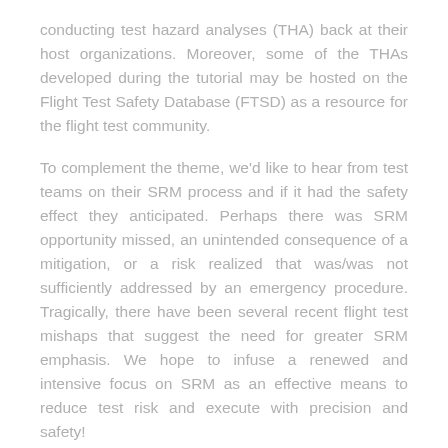conducting test hazard analyses (THA) back at their host organizations. Moreover, some of the THAs developed during the tutorial may be hosted on the Flight Test Safety Database (FTSD) as a resource for the flight test community.
To complement the theme, we'd like to hear from test teams on their SRM process and if it had the safety effect they anticipated. Perhaps there was SRM opportunity missed, an unintended consequence of a mitigation, or a risk realized that was/was not sufficiently addressed by an emergency procedure. Tragically, there have been several recent flight test mishaps that suggest the need for greater SRM emphasis. We hope to infuse a renewed and intensive focus on SRM as an effective means to reduce test risk and execute with precision and safety!
Individuals, test teams, and companies are invited to